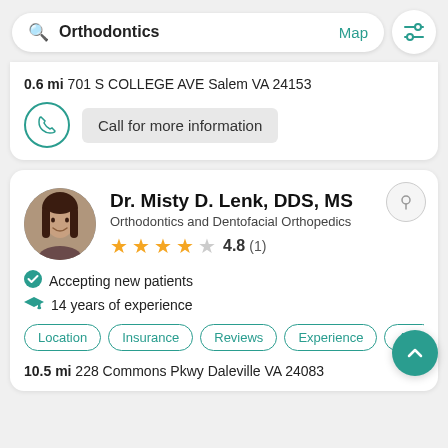[Figure (screenshot): Mobile app search bar with 'Orthodontics' query, Map link, and filter icon]
0.6 mi 701 S COLLEGE AVE Salem VA 24153
Call for more information
Dr. Misty D. Lenk, DDS, MS
Orthodontics and Dentofacial Orthopedics
4.8 (1)
Accepting new patients
14 years of experience
Location  Insurance  Reviews  Experience  Abo
10.5 mi 228 Commons Pkwy Daleville VA 24083